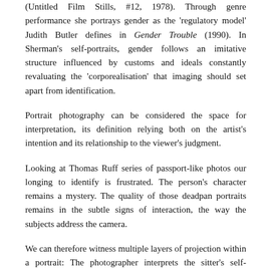(Untitled Film Stills, #12, 1978). Through genre performance she portrays gender as the 'regulatory model' Judith Butler defines in Gender Trouble (1990). In Sherman's self-portraits, gender follows an imitative structure influenced by customs and ideals constantly revaluating the 'corporealisation' that imaging should set apart from identification.
Portrait photography can be considered the space for interpretation, its definition relying both on the artist's intention and its relationship to the viewer's judgment.
Looking at Thomas Ruff series of passport-like photos our longing to identify is frustrated. The person's character remains a mystery. The quality of those deadpan portraits remains in the subtle signs of interaction, the way the subjects address the camera.
We can therefore witness multiple layers of projection within a portrait: The photographer interprets the sitter's self-interpretation, and the sitter in return interprets the photographer and viewer's expectation. Finally, the viewer interprets the overall impersonation.
In the end, the camera doesn't classify, we do. As spectators we long to read through the subtlety of a face, the grace of gesture, the drama of expression. Portraits fascinate us because of what they could say. Our relationship with portraiture is therefore a subjective and sentimental one. It is easy to